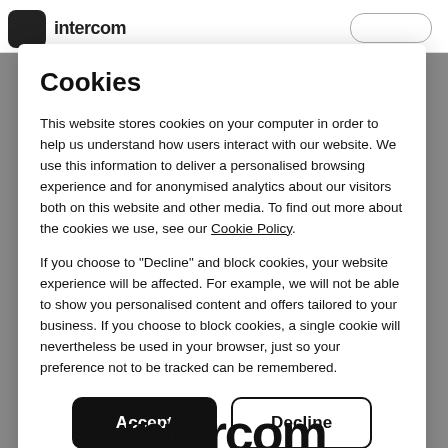Cookies
This website stores cookies on your computer in order to help us understand how users interact with our website. We use this information to deliver a personalised browsing experience and for anonymised analytics about our visitors both on this website and other media. To find out more about the cookies we use, see our Cookie Policy.
If you choose to "Decline" and block cookies, your website experience will be affected. For example, we will not be able to show you personalised content and offers tailored to your business. If you choose to block cookies, a single cookie will nevertheless be used in your browser, just so your preference not to be tracked can be remembered.